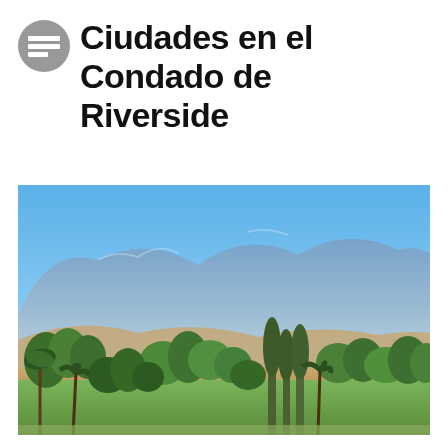Ciudades en el Condado de Riverside
[Figure (photo): Landscape photo showing a panoramic view of Riverside County, California, with lush green trees and palm trees in the foreground, a grassy park area, and large blue-purple mountains in the background under a clear bright blue sky.]